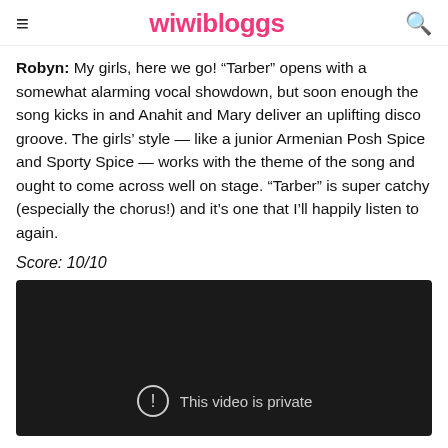wiwibloggs
Robyn: My girls, here we go! “Tarber” opens with a somewhat alarming vocal showdown, but soon enough the song kicks in and Anahit and Mary deliver an uplifting disco groove. The girls’ style — like a junior Armenian Posh Spice and Sporty Spice — works with the theme of the song and ought to come across well on stage. “Tarber” is super catchy (especially the chorus!) and it’s one that I’ll happily listen to again.
Score: 10/10
[Figure (screenshot): Embedded video player showing 'This video is private' message on dark background]